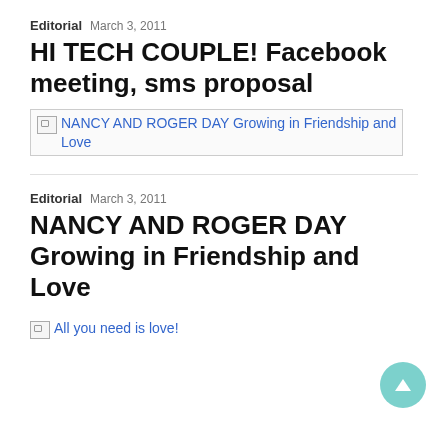Editorial March 3, 2011
HI TECH COUPLE! Facebook meeting, sms proposal
[Figure (photo): Broken image placeholder with alt text: NANCY AND ROGER DAY Growing in Friendship and Love]
Editorial March 3, 2011
NANCY AND ROGER DAY Growing in Friendship and Love
[Figure (photo): Broken image placeholder with alt text: All you need is love!]